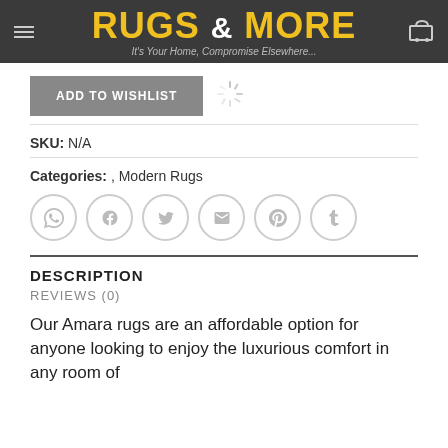RUGS & MORE — It's Your Home, Compromise Elsewhere...
ADD TO WISHLIST
SKU: N/A
Categories: , Modern Rugs
[Figure (infographic): Social share icons: WhatsApp, Facebook, Twitter, Email, Pinterest, Tumblr]
DESCRIPTION
REVIEWS (0)
Our Amara rugs are an affordable option for anyone looking to enjoy the luxurious comfort in any room of